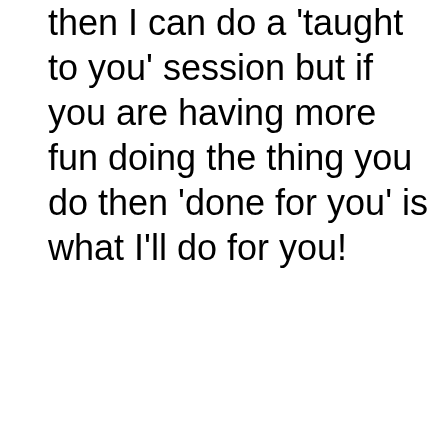then I can do a 'taught to you' session but if you are having more fun doing the thing you do then 'done for you' is what I'll do for you!